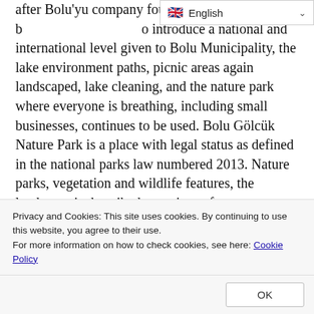after Bolu'yu company founded in b... to introduce a national and international level given to Bolu Municipality, the lake environment paths, picnic areas again landscaped, lake cleaning, and the nature park where everyone is breathing, including small businesses, continues to be used. Bolu Gölcük Nature Park is a place with legal status as defined in the national parks law numbered 2013. Nature parks, vegetation and wildlife features, the landscape is described as a piece of nature suitable for the rest and enjoyment of the public. In accordance with the provisions of the Regulation; National parks, nature parks, wetlands, other areas with similar protection status, effective protection of resource values, ensuring continuity, development of land-use decisions by taking into account the balance of protection-use.
[Figure (screenshot): Language selector dropdown showing English with UK flag icon and dropdown arrow]
Privacy and Cookies: This site uses cookies. By continuing to use this website, you agree to their use.
For more information on how to check cookies, see here: Cookie Policy
OK
plant structure can not be destroyed, or any properties that